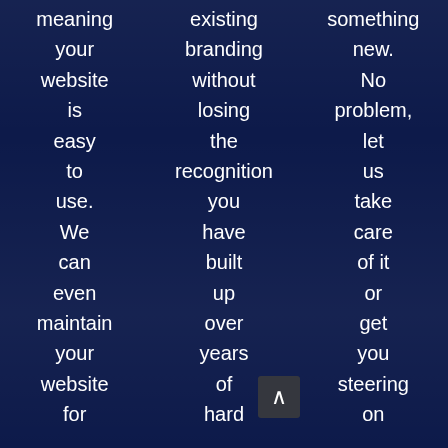meaning your website is easy to use. We can even maintain your website for
existing branding without losing the recognition you have built up over years of hard
something new. No problem, let us take care of it or get you steering on